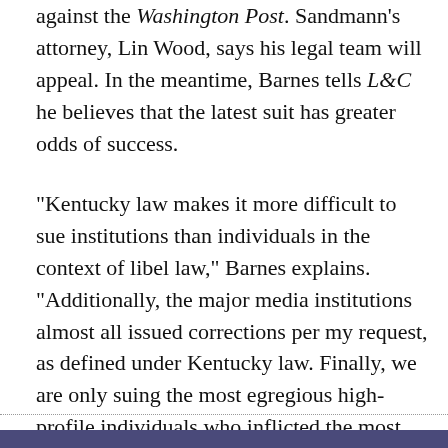against the Washington Post. Sandmann's attorney, Lin Wood, says his legal team will appeal. In the meantime, Barnes tells L&C he believes that the latest suit has greater odds of success.
"Kentucky law makes it more difficult to sue institutions than individuals in the context of libel law," Barnes explains. "Additionally, the major media institutions almost all issued corrections per my request, as defined under Kentucky law. Finally, we are only suing the most egregious high-profile individuals who inflicted the most harm & refuse to issue corrections."